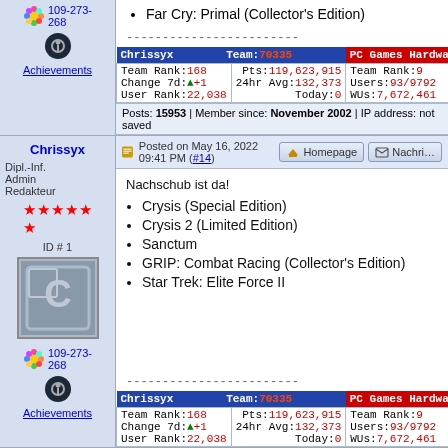Far Cry: Primal (Collector's Edition)
------------------------
| Chrissyx  Team: 70335  PC Games Hardware | Team Rank :168  Pts :119,623,915  Team Rank :9 | Change 7d: +1  24hr Avg :132,373  Users :93/9792 | User Rank :22,038  Today :0  WUs :7,672,461 |
| --- | --- | --- | --- |
Posts: 15953 | Member since: November 2002 | IP address: not saved
Posted on May 16, 2022 09:41 PM (#14)
Nachschub ist da!
Crysis (Special Edition)
Crysis 2 (Limited Edition)
Sanctum
GRIP: Combat Racing (Collector's Edition)
Star Trek: Elite Force II
------------------------
| Chrissyx  Team: 70335  PC Games Hardware | Team Rank :168  Pts :119,623,915  Team Rank :9 | Change 7d: +1  24hr Avg :132,373  Users :93/9792 | User Rank :22,038  Today :0  WUs :7,672,461 |
| --- | --- | --- | --- |